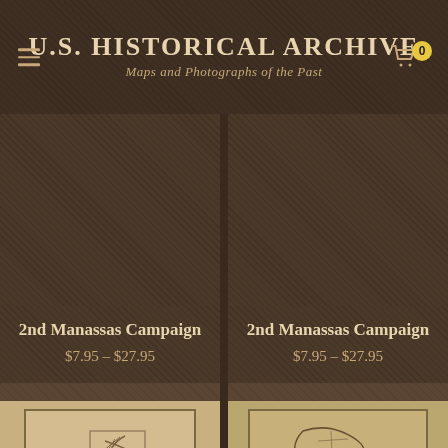U.S. Historical Archive
Maps and Photographs of the Past
[Figure (photo): Dark brown textured product image placeholder for 2nd Manassas Campaign (left)]
[Figure (photo): Dark brown textured product image placeholder for 2nd Manassas Campaign (right)]
2nd Manassas Campaign
$7.95 – $27.95
2nd Manassas Campaign
$7.95 – $27.95
[Figure (map): Thumbnail of a historical map with tree/river sketch lines on aged paper background]
[Figure (map): Thumbnail of a historical map showing county/region boundaries on aged paper background]